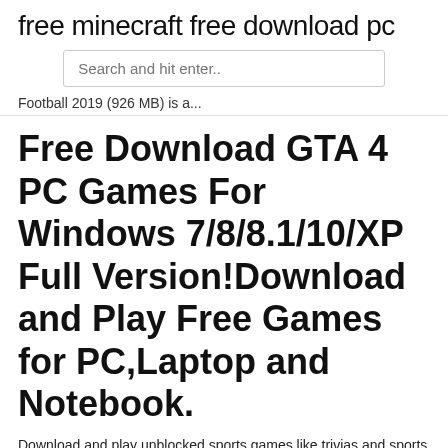free minecraft free download pc
[Figure (other): Search input box with placeholder text 'Search and hit enter..']
Football 2019 (926 MB) is a...
Free Download GTA 4 PC Games For Windows 7/8/8.1/10/XP Full Version!Download and Play Free Games for PC,Laptop and Notebook.
Download and play unblocked sports games like trivias and sports games for kids. Check out Games.lol for the best sports games on PC!Football Games - spin-list-jackpot.sitehttps://spin-list-jackpot.site/football-games-100Try action games for adventurers, cooking games for gourmets,